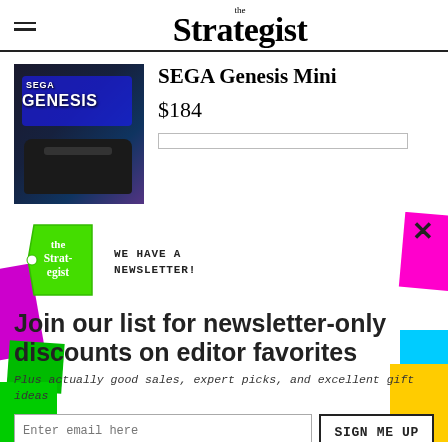the Strategist
[Figure (photo): SEGA Genesis Mini product box with console]
SEGA Genesis Mini
$184
[Figure (infographic): The Strategist newsletter signup popup overlay with green price-tag logo, colorful decorative shapes, email signup form]
WE HAVE A NEWSLETTER!
Join our list for newsletter-only discounts on editor favorites
Plus actually good sales, expert picks, and excellent gift ideas
Enter email here
SIGN ME UP
NO THANKS